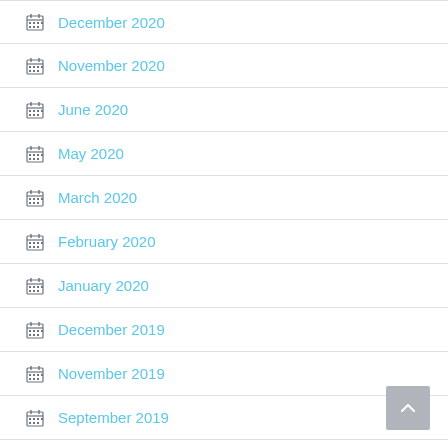December 2020
November 2020
June 2020
May 2020
March 2020
February 2020
January 2020
December 2019
November 2019
September 2019